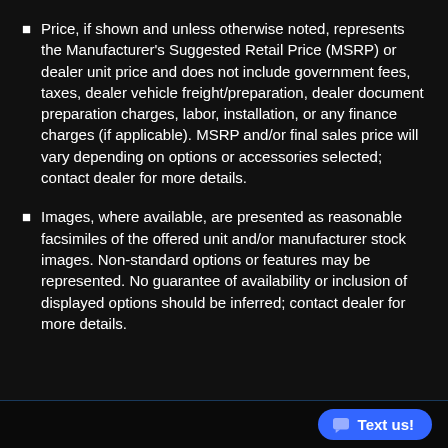Price, if shown and unless otherwise noted, represents the Manufacturer's Suggested Retail Price (MSRP) or dealer unit price and does not include government fees, taxes, dealer vehicle freight/preparation, dealer document preparation charges, labor, installation, or any finance charges (if applicable). MSRP and/or final sales price will vary depending on options or accessories selected; contact dealer for more details.
Images, where available, are presented as reasonable facsimiles of the offered unit and/or manufacturer stock images. Non-standard options or features may be represented. No guarantee of availability or inclusion of displayed options should be inferred; contact dealer for more details.